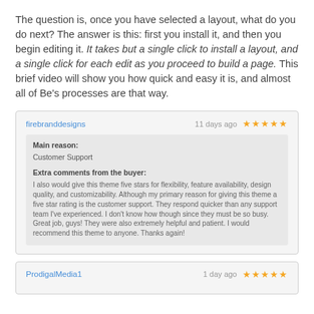The question is, once you have selected a layout, what do you do next? The answer is this: first you install it, and then you begin editing it. It takes but a single click to install a layout, and a single click for each edit as you proceed to build a page. This brief video will show you how quick and easy it is, and almost all of Be's processes are that way.
firebranddesigns | 11 days ago | ★★★★★ | Main reason: Customer Support | Extra comments from the buyer: I also would give this theme five stars for flexibility, feature availability, design quality, and customizability. Although my primary reason for giving this theme a five star rating is the customer support. They respond quicker than any support team I've experienced. I don't know how though since they must be so busy. Great job, guys! They were also extremely helpful and patient. I would recommend this theme to anyone. Thanks again!
ProdigalMedia1 | 1 day ago | ★★★★★